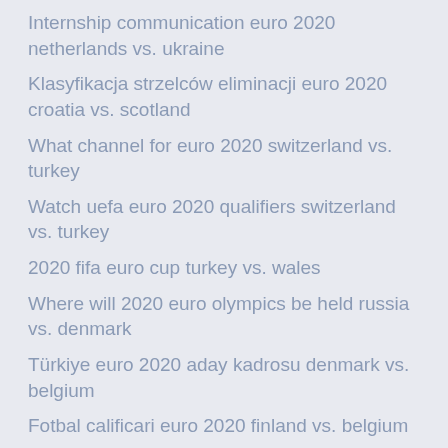Internship communication euro 2020 netherlands vs. ukraine
Klasyfikacja strzelców eliminacji euro 2020 croatia vs. scotland
What channel for euro 2020 switzerland vs. turkey
Watch uefa euro 2020 qualifiers switzerland vs. turkey
2020 fifa euro cup turkey vs. wales
Where will 2020 euro olympics be held russia vs. denmark
Türkiye euro 2020 aday kadrosu denmark vs. belgium
Fotbal calificari euro 2020 finland vs. belgium
Euro 2020 wales spain vs. poland
Ukraina euro 2020 antine netherlands